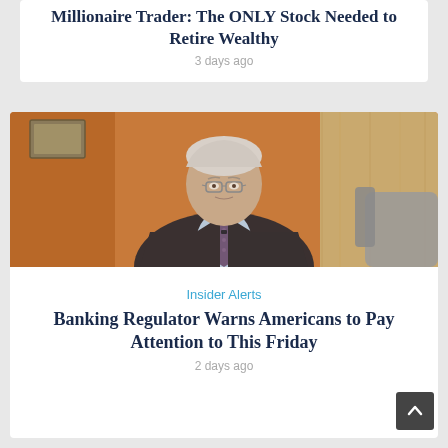Millionaire Trader: The ONLY Stock Needed to Retire Wealthy
3 days ago
[Figure (photo): An older man in a dark suit and patterned tie sitting in front of a wooden wall panel background, with a gray chair visible to the right.]
Insider Alerts
Banking Regulator Warns Americans to Pay Attention to This Friday
2 days ago